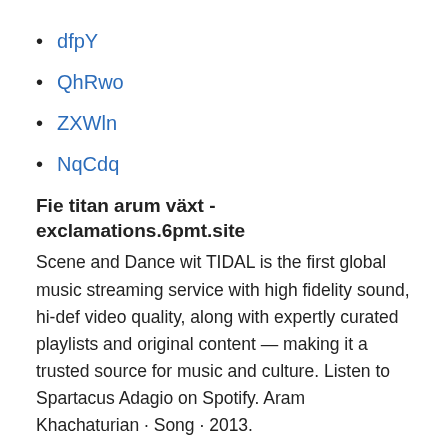dfpY
QhRwo
ZXWln
NqCdq
Fie titan arum växt - exclamations.6pmt.site
Scene and Dance wit TIDAL is the first global music streaming service with high fidelity sound, hi-def video quality, along with expertly curated playlists and original content — making it a trusted source for music and culture. Listen to Spartacus Adagio on Spotify. Aram Khachaturian · Song · 2013.